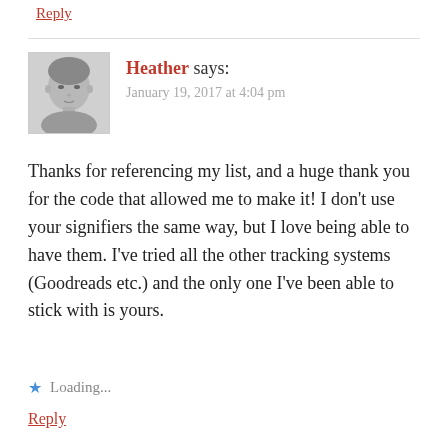Reply
[Figure (photo): Black and white portrait photo of a young woman, used as comment avatar]
Heather says:
January 19, 2017 at 4:04 pm
Thanks for referencing my list, and a huge thank you for the code that allowed me to make it! I don't use your signifiers the same way, but I love being able to have them. I've tried all the other tracking systems (Goodreads etc.) and the only one I've been able to stick with is yours.
Loading...
Reply